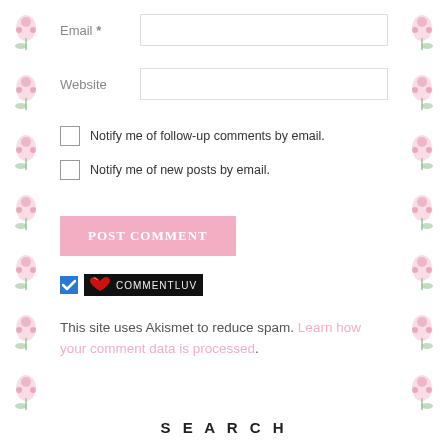Email *
Website
Notify me of follow-up comments by email.
Notify me of new posts by email.
POST COMMENT
[Figure (other): CommentLuv badge with blue checkbox checked and red heart logo with COMMENTLUV text on dark background]
This site uses Akismet to reduce spam. Learn how your comment data is processed.
SEARCH